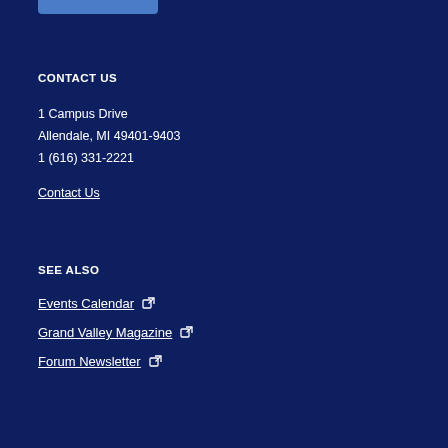CONTACT US
1 Campus Drive
Allendale, MI 49401-9403
1 (616) 331-2221
Contact Us
SEE ALSO
Events Calendar
Grand Valley Magazine
Forum Newsletter